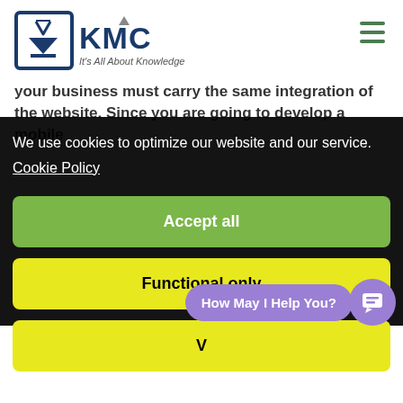[Figure (logo): KMC logo with bracket icon and tagline 'It's All About Knowledge']
your business must carry the same integration of the website. Since you are going to develop a mobile
We use cookies to optimize our website and our service.
Cookie Policy
Accept all
Functional only
V
How May I Help You?
Check out the user-interface and features of your